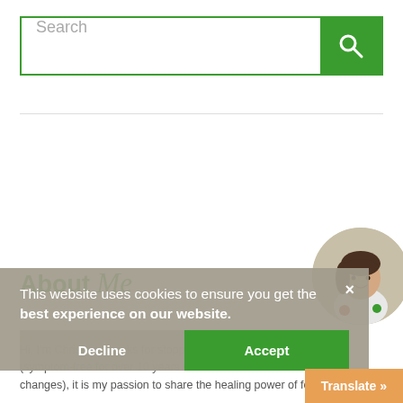[Figure (screenshot): Search bar with green search button icon]
[Figure (photo): Circular profile photo of a woman with dark hair wearing a white shirt, holding fruits/vegetables]
About Me
Hi, I'm Christine, thanks for stopping by! As a fibromyalgia thriver (symptom-free for over 10 years now thanks to diet and lifestyle changes), it is my passion to share the healing power of food.
As an RN and Holistic Nutrition Practition...
This website uses cookies to ensure you get the best experience on our website.
Decline
Accept
Translate »